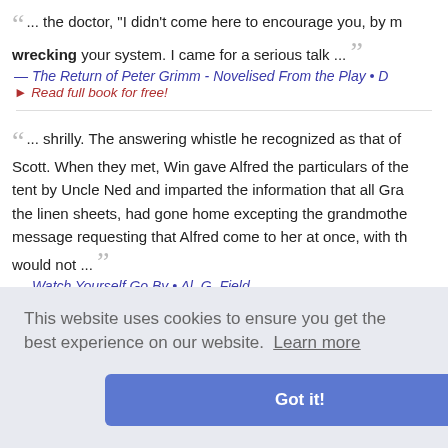“... the doctor, "I didn't come here to encourage you, by wrecking your system. I came for a serious talk ...”
— The Return of Peter Grimm - Novelised From the Play • D...
▸ Read full book for free!
“... shrilly. The answering whistle he recognized as that of Scott. When they met, Win gave Alfred the particulars of the tent by Uncle Ned and imparted the information that all Gra... the linen sheets, had gone home excepting the grandmother message requesting that Alfred come to her at once, with th... would not ...”
— Watch Yourself Go By • Al. G. Field
▸ Read full book for free!
...e English s... s which ha... n scattering... with their c...
— Under Drake's Flag - A Tale of the Spanish Main • G. A...
This website uses cookies to ensure you get the best experience on our website. Learn more
Got it!